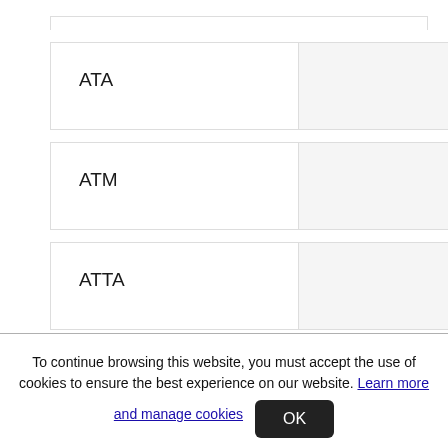| ATA |  |
| ATM |  |
| ATTA |  |
To continue browsing this website, you must accept the use of cookies to ensure the best experience on our website. Learn more and manage cookies
OK